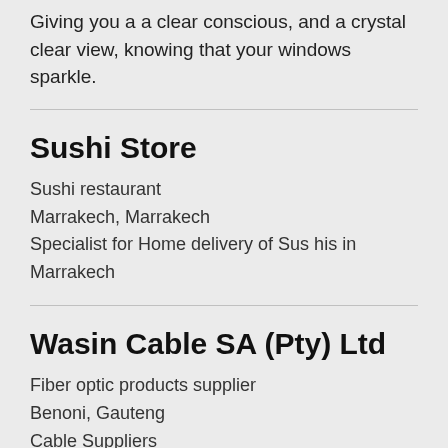Giving you a a clear conscious, and a crystal clear view, knowing that your windows sparkle.
Sushi Store
Sushi restaurant
Marrakech, Marrakech
Specialist for Home delivery of Sus his in Marrakech
Wasin Cable SA (Pty) Ltd
Fiber optic products supplier
Benoni, Gauteng
Cable Suppliers